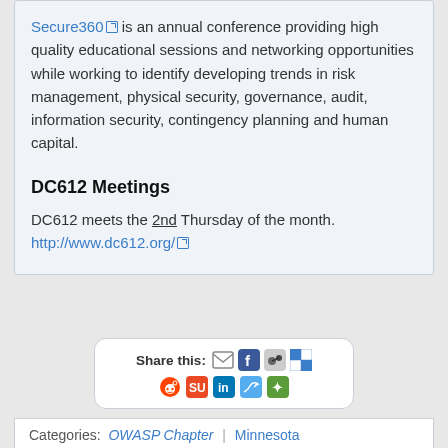Secure360 is an annual conference providing high quality educational sessions and networking opportunities while working to identify developing trends in risk management, physical security, governance, audit, information security, contingency planning and human capital.
DC612 Meetings
DC612 meets the 2nd Thursday of the month.
http://www.dc612.org/
[Figure (infographic): Share this: social media sharing icons row including email, Facebook, MySpace, Delicious, Reddit, StumbleUpon, LinkedIn, Twitter, and a green icon]
Categories: OWASP Chapter | Minnesota